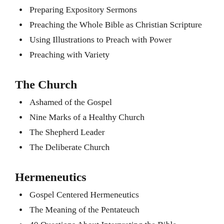Preparing Expository Sermons
Preaching the Whole Bible as Christian Scripture
Using Illustrations to Preach with Power
Preaching with Variety
The Church
Ashamed of the Gospel
Nine Marks of a Healthy Church
The Shepherd Leader
The Deliberate Church
Hermeneutics
Gospel Centered Hermeneutics
The Meaning of the Pentateuch
40 Questions About Interpreting the Bible